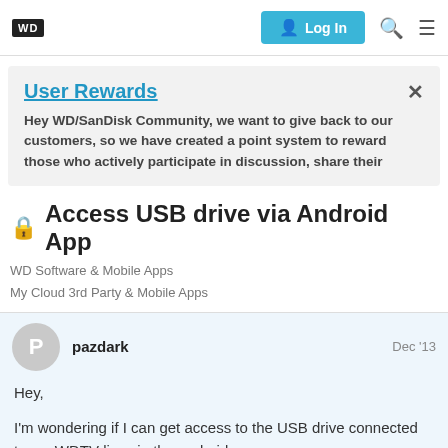WD | Log In
User Rewards
Hey WD/SanDisk Community, we want to give back to our customers, so we have created a point system to reward those who actively participate in discussion, share their
Access USB drive via Android App
WD Software & Mobile Apps
My Cloud 3rd Party & Mobile Apps
pazdark  Dec '13
Hey,

I'm wondering if I can get access to the USB drive connected to my WDTV live via the android app.